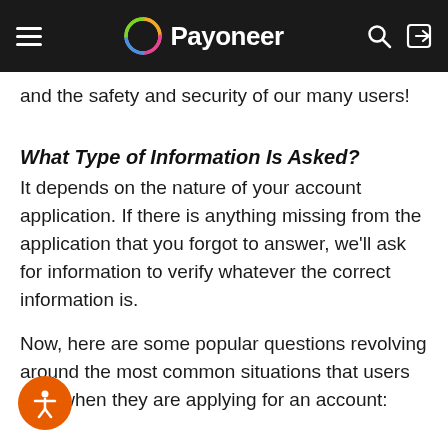Payoneer
and the safety and security of our many users!
What Type of Information Is Asked?
It depends on the nature of your account application. If there is anything missing from the application that you forgot to answer, we'll ask for information to verify whatever the correct information is.
Now, here are some popular questions revolving around the most common situations that users face when they are applying for an account:
Why Was My Application Denied?
First thing's first, click here to see our Terms and Conditions. Please familiarize yourself with these terms and conditions. Now, in most cases we won't be able to disclose the reason why the application